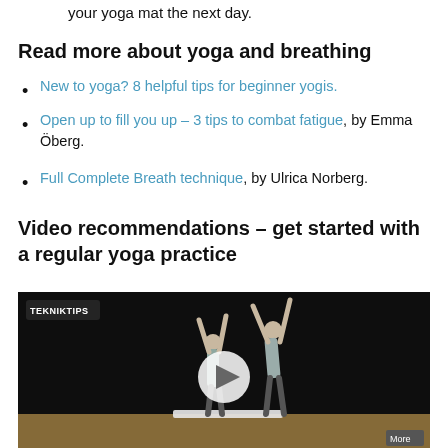your yoga mat the next day.
Read more about yoga and breathing
New to yoga? 8 helpful tips for beginner yogis.
Open up to fill you up – 3 tips to combat fatigue, by Emma Öberg.
Full Complete Breath technique, by Ulrica Norberg.
Video recommendations – get started with a regular yoga practice
[Figure (photo): Video thumbnail showing two people doing yoga poses with arms raised, on a dark background with a wooden floor. A 'TEKNIKTIPS' badge is visible in the top left corner, and a play button is centered on the image.]